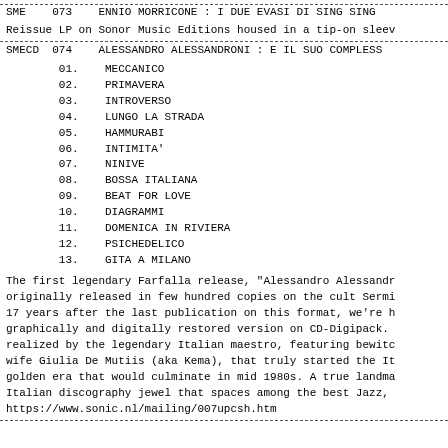SME   073   ENNIO MORRICONE : I DUE EVASI DI SING SING
Reissue LP on Sonor Music Editions housed in a tip-on sleev
SMECD  074   ALESSANDRO ALESSANDRONI : E IL SUO COMPLESS
01.   MECCANICO
02.   PRIMAVERA
03.   INTROVERSO
04.   LUNGO LA STRADA
05.   HAMMURABI
06.   INTIMITA'
07.   NINIVE
08.   BOSSA ITALIANA
09.   BEAT FOR LOVE
10.   DIAGRAMMI
11.   DOMENICA IN RIVIERA
12.   PSICHEDELICO
13.   GITA A MILANO
The first legendary Farfalla release, "Alessandro Alessandr originally released in few hundred copies on the cult Sermi 17 years after the last publication on this format, we're h graphically and digitally restored version on CD-Digipack. realized by the legendary Italian maestro, featuring bewitc wife Giulia De Mutiis (aka Kema), that truly started the It golden era that would culminate in mid 1980s. A true landma Italian discography jewel that spaces among the best Jazz, https://www.sonic.nl/mailing/007upcsh.htm